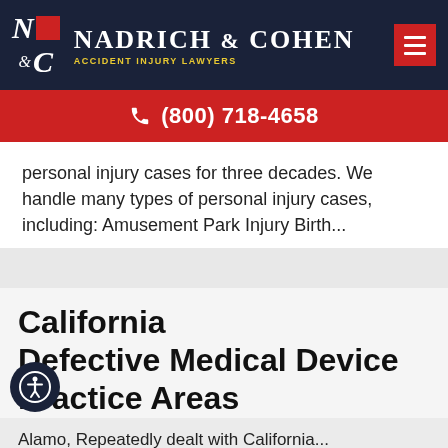Nadrich & Cohen Accident Injury Lawyers — (800) 718-4658
personal injury cases for three decades. We handle many types of personal injury cases, including: Amusement Park Injury Birth...
California Defective Medical Device Practice Areas
Alamo, Repeatedly dealt with California...